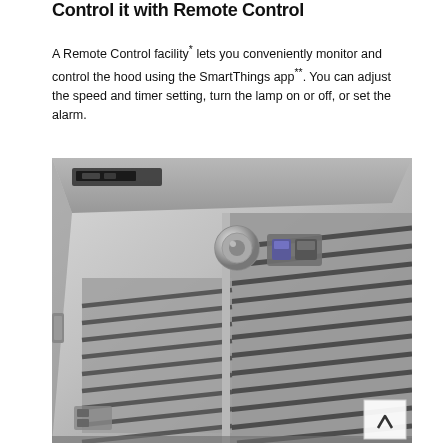Control it with Remote Control
A Remote Control facility* lets you conveniently monitor and control the hood using the SmartThings app**. You can adjust the speed and timer setting, turn the lamp on or off, or set the alarm.
[Figure (photo): Close-up photograph of a Samsung kitchen range hood (stainless steel), showing the bottom panel with filter grilles, control knob, control buttons, and ventilation slots, viewed from a low angle.]